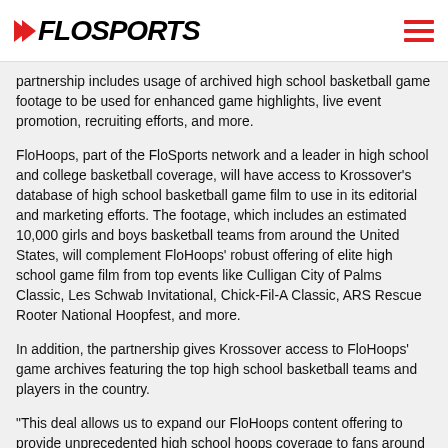FLOSPORTS
partnership includes usage of archived high school basketball game footage to be used for enhanced game highlights, live event promotion, recruiting efforts, and more.
FloHoops, part of the FloSports network and a leader in high school and college basketball coverage, will have access to Krossover's database of high school basketball game film to use in its editorial and marketing efforts. The footage, which includes an estimated 10,000 girls and boys basketball teams from around the United States, will complement FloHoops' robust offering of elite high school game film from top events like Culligan City of Palms Classic, Les Schwab Invitational, Chick-Fil-A Classic, ARS Rescue Rooter National Hoopfest, and more.
In addition, the partnership gives Krossover access to FloHoops' game archives featuring the top high school basketball teams and players in the country.
"This deal allows us to expand our FloHoops content offering to provide unprecedented high school hoops coverage to fans around the world," FloSports Vice President of Global Rights Acquisition Toby Mergler said. "This has been a record season for FloHoops, and partnering with a world-class company like Krossover gives us additional tools that will